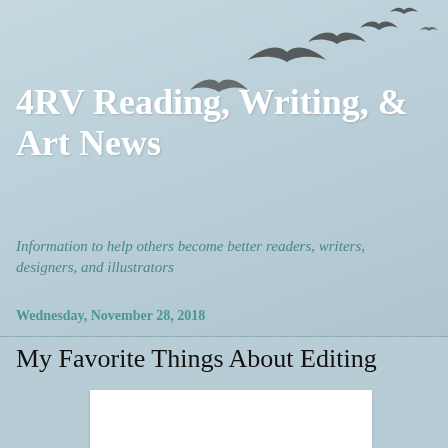4RV Reading, Writing, & Art News
Information to help others become better readers, writers, designers, and illustrators
Wednesday, November 28, 2018
My Favorite Things About Editing
[Figure (photo): White blank image placeholder rectangle]